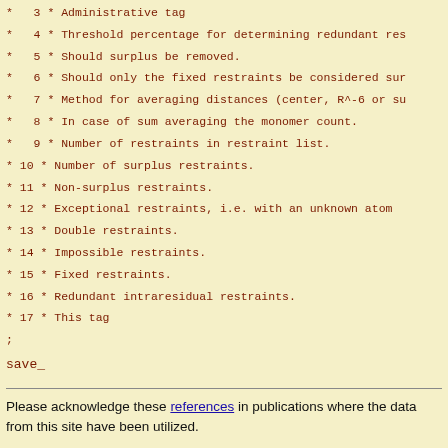*  3 * Administrative tag
*  4 * Threshold percentage for determining redundant res
*  5 * Should surplus be removed.
*  6 * Should only the fixed restraints be considered sur
*  7 * Method for averaging distances (center, R^-6 or su
*  8 * In case of sum averaging the monomer count.
*  9 * Number of restraints in restraint list.
* 10 * Number of surplus restraints.
* 11 * Non-surplus restraints.
* 12 * Exceptional restraints, i.e. with an unknown atom
* 13 * Double restraints.
* 14 * Impossible restraints.
* 15 * Fixed restraints.
* 16 * Redundant intraresidual restraints.
* 17 * This tag
;
save_
Please acknowledge these references in publications where the data from this site have been utilized.
Contact the webmaster for help, if required. Saturday, August 20, 2022 4:36:08 PM GMT (wattos1)